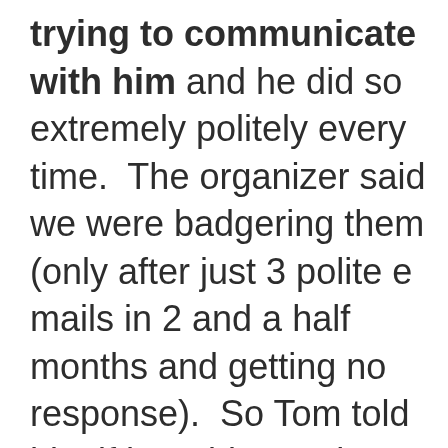trying to communicate with him and he did so extremely politely every time.  The organizer said we were badgering them (only after just 3 polite e mails in 2 and a half months and getting no response).  So Tom told him if he addressed our concerns with proper communication there would not be a situation where there would be a shouting match over the phone.